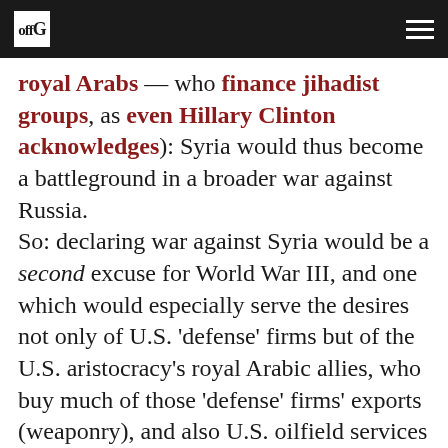off G [logo] [hamburger menu]
royal Arabs — who finance jihadist groups, as even Hillary Clinton acknowledges): Syria would thus become a battleground in a broader war against Russia. So: declaring war against Syria would be a second excuse for World War III, and one which would especially serve the desires not only of U.S. 'defense' firms but of the U.S. aristocracy's royal Arabic allies, who buy much of those 'defense' firms' exports (weaponry), and also U.S. oilfield services firms such as pipelines by Halliburton. (It's good business for them, no